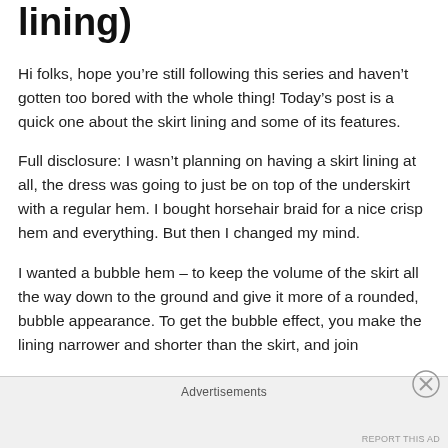lining)
Hi folks, hope you’re still following this series and haven’t gotten too bored with the whole thing! Today’s post is a quick one about the skirt lining and some of its features.
Full disclosure: I wasn’t planning on having a skirt lining at all, the dress was going to just be on top of the underskirt with a regular hem. I bought horsehair braid for a nice crisp hem and everything. But then I changed my mind.
I wanted a bubble hem – to keep the volume of the skirt all the way down to the ground and give it more of a rounded, bubble appearance. To get the bubble effect, you make the lining narrower and shorter than the skirt, and join
Advertisements